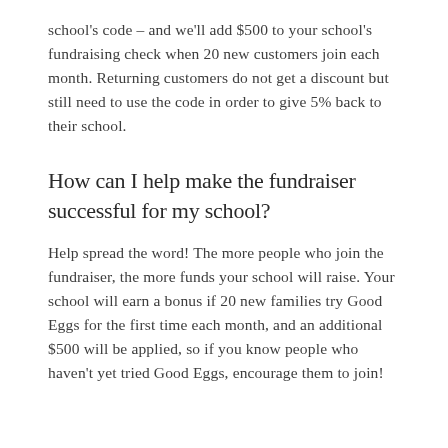school's code – and we'll add $500 to your school's fundraising check when 20 new customers join each month. Returning customers do not get a discount but still need to use the code in order to give 5% back to their school.
How can I help make the fundraiser successful for my school?
Help spread the word! The more people who join the fundraiser, the more funds your school will raise. Your school will earn a bonus if 20 new families try Good Eggs for the first time each month, and an additional $500 will be applied, so if you know people who haven't yet tried Good Eggs, encourage them to join!